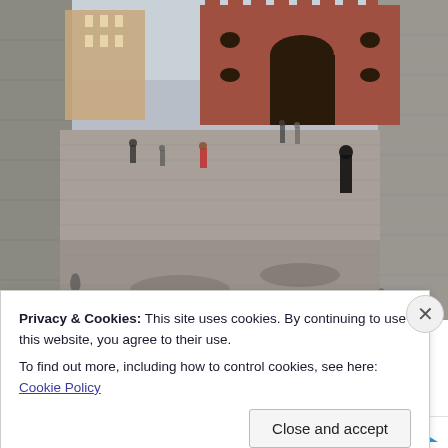[Figure (photo): Photograph taken through a stone archway showing a medieval brick barbican or gatehouse in Krakow, Poland. Cobblestone plaza in foreground with pedestrians. Stone arch frames the view on left and right sides.]
Privacy & Cookies: This site uses cookies. By continuing to use this website, you agree to their use.
To find out more, including how to control cookies, see here: Cookie Policy
Close and accept